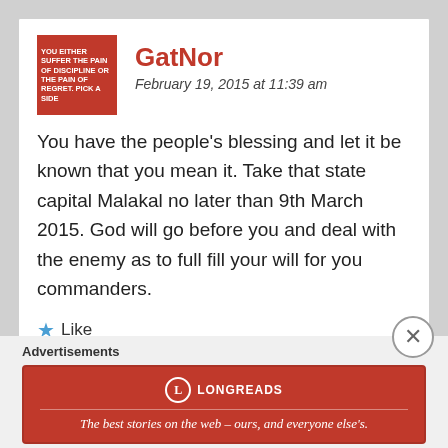GatNor
February 19, 2015 at 11:39 am
You have the people's blessing and let it be known that you mean it. Take that state capital Malakal no later than 9th March 2015. God will go before you and deal with the enemy as to full fill your will for you commanders.
★ Like
Reply
Advertisements
[Figure (logo): Longreads banner advertisement: The best stories on the web – ours, and everyone else's.]